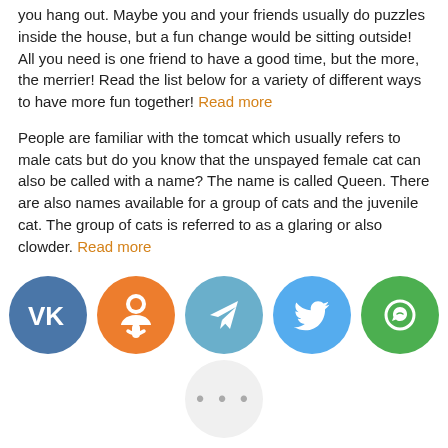you hang out. Maybe you and your friends usually do puzzles inside the house, but a fun change would be sitting outside! All you need is one friend to have a good time, but the more, the merrier! Read the list below for a variety of different ways to have more fun together! Read more
People are familiar with the tomcat which usually refers to male cats but do you know that the unspayed female cat can also be called with a name? The name is called Queen. There are also names available for a group of cats and the juvenile cat. The group of cats is referred to as a glaring or also clowder. Read more
[Figure (other): Row of five social media sharing icons (VK blue, Odnoklassniki orange, Telegram blue-grey, Twitter light blue, WhatsApp green) plus a light grey 'more' circle with three dots]